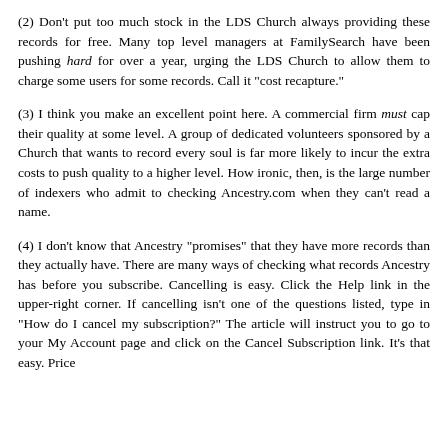(2) Don't put too much stock in the LDS Church always providing these records for free. Many top level managers at FamilySearch have been pushing hard for over a year, urging the LDS Church to allow them to charge some users for some records. Call it "cost recapture."
(3) I think you make an excellent point here. A commercial firm must cap their quality at some level. A group of dedicated volunteers sponsored by a Church that wants to record every soul is far more likely to incur the extra costs to push quality to a higher level. How ironic, then, is the large number of indexers who admit to checking Ancestry.com when they can't read a name.
(4) I don't know that Ancestry "promises" that they have more records than they actually have. There are many ways of checking what records Ancestry has before you subscribe. Cancelling is easy. Click the Help link in the upper-right corner. If cancelling isn't one of the questions listed, type in "How do I cancel my subscription?" The article will instruct you to go to your My Account page and click on the Cancel Subscription link. It's that easy. Price